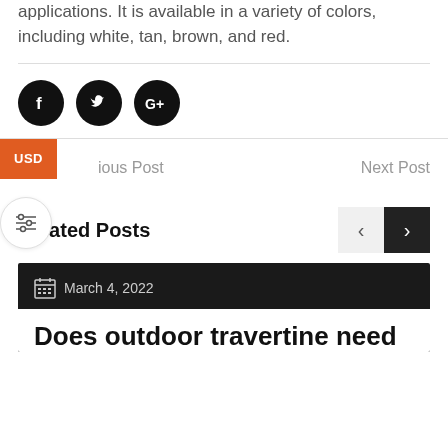applications. It is available in a variety of colors, including white, tan, brown, and red.
[Figure (other): Three social media icon buttons (Facebook, Twitter, Google+) as black circles with white icons]
Previous Post
Next Post
[Figure (other): USD currency badge (orange) and filter/settings button (white circle with sliders icon)]
Related Posts
March 4, 2022
Does outdoor travertine need